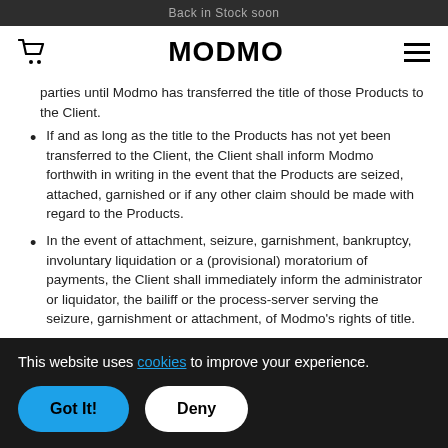Back in Stock soon
parties until Modmo has transferred the title of those Products to the Client.
If and as long as the title to the Products has not yet been transferred to the Client, the Client shall inform Modmo forthwith in writing in the event that the Products are seized, attached, garnished or if any other claim should be made with regard to the Products.
In the event of attachment, seizure, garnishment, bankruptcy, involuntary liquidation or a (provisional) moratorium of payments, the Client shall immediately inform the administrator or liquidator, the bailiff or the process-server serving the seizure, garnishment or attachment, of Modmo's rights of title.
This website uses cookies to improve your experience.